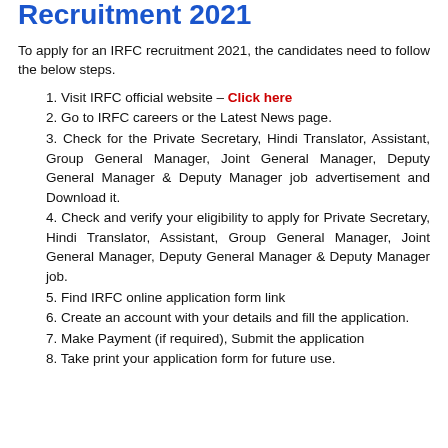Recruitment 2021
To apply for an IRFC recruitment 2021, the candidates need to follow the below steps.
1. Visit IRFC official website – Click here
2. Go to IRFC careers or the Latest News page.
3. Check for the Private Secretary, Hindi Translator, Assistant, Group General Manager, Joint General Manager, Deputy General Manager & Deputy Manager job advertisement and Download it.
4. Check and verify your eligibility to apply for Private Secretary, Hindi Translator, Assistant, Group General Manager, Joint General Manager, Deputy General Manager & Deputy Manager job.
5. Find IRFC online application form link
6. Create an account with your details and fill the application.
7. Make Payment (if required), Submit the application
8. Take print your application form for future use.